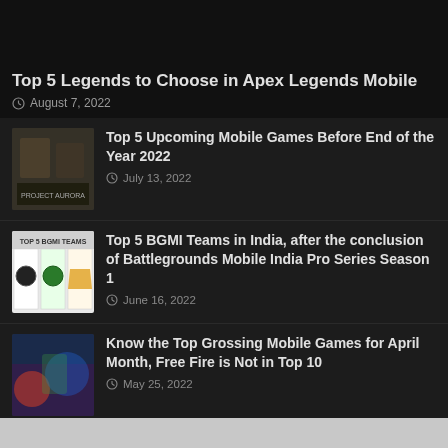Top 5 Legends to Choose in Apex Legends Mobile
August 7, 2022
[Figure (photo): Game thumbnail for upcoming mobile games - Project Aurora]
Top 5 Upcoming Mobile Games Before End of the Year 2022
July 13, 2022
[Figure (photo): BGMI teams logos thumbnail - Top 5 BGMI Teams]
Top 5 BGMI Teams in India, after the conclusion of Battlegrounds Mobile India Pro Series Season 1
June 16, 2022
[Figure (photo): Mobile games thumbnail - colorful game art]
Know the Top Grossing Mobile Games for April Month, Free Fire is Not in Top 10
May 25, 2022
[Figure (photo): Horror game thumbnail - dark creepy character]
Top 5 Horror and Thrilling Game of All Time, Check out the list here
February 6, 2022